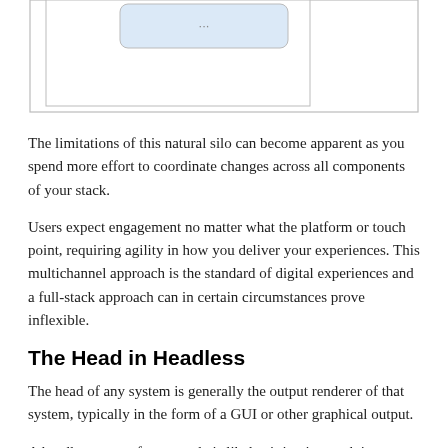[Figure (schematic): Partial diagram showing a rounded rectangle box with ellipsis text inside, within a larger bordered box — top portion of a full-stack/headless architecture diagram]
The limitations of this natural silo can become apparent as you spend more effort to coordinate changes across all components of your stack.
Users expect engagement no matter what the platform or touch point, requiring agility in how you deliver your experiences. This multichannel approach is the standard of digital experiences and a full-stack approach can in certain circumstances prove inflexible.
The Head in Headless
The head of any system is generally the output renderer of that system, typically in the form of a GUI or other graphical output.
A headless server for example is likely sitting in a rack in a server